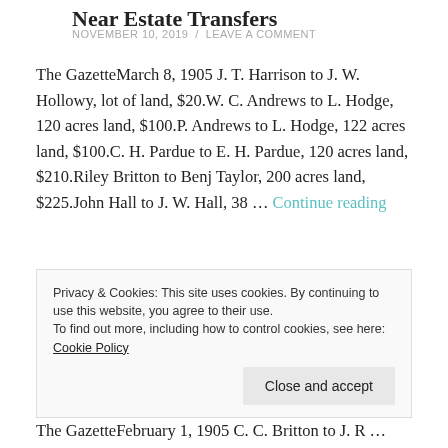Near Estate Transfers
NOVEMBER 10, 2019 / LEAVE A COMMENT
The GazetteMarch 8, 1905 J. T. Harrison to J. W. Hollowy, lot of land, $20.W. C. Andrews to L. Hodge, 120 acres land, $100.P. Andrews to L. Hodge, 122 acres land, $100.C. H. Pardue to E. H. Pardue, 120 acres land, $210.Riley Britton to Benj Taylor, 200 acres land, $225.John Hall to J. W. Hall, 38 … Continue reading
Privacy & Cookies: This site uses cookies. By continuing to use this website, you agree to their use.
To find out more, including how to control cookies, see here: Cookie Policy
The GazetteFebruary 1, 1905 C. C. Britton to J. R …